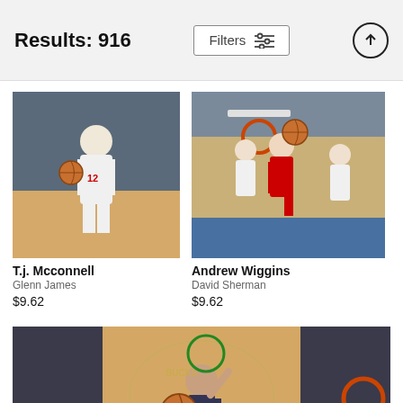Results: 916
[Figure (photo): NBA basketball player T.j. Mcconnell #12 in a white Philadelphia 76ers uniform dribbling on the court]
T.j. Mcconnell
Glenn James
$9.62
[Figure (photo): NBA basketball game action shot featuring Andrew Wiggins dunking or defending near the basket, multiple players in white and red uniforms]
Andrew Wiggins
David Sherman
$9.62
[Figure (photo): NBA basketball game action shot showing a player going up for a shot near the basket in Milwaukee Bucks arena, bottom of frame]